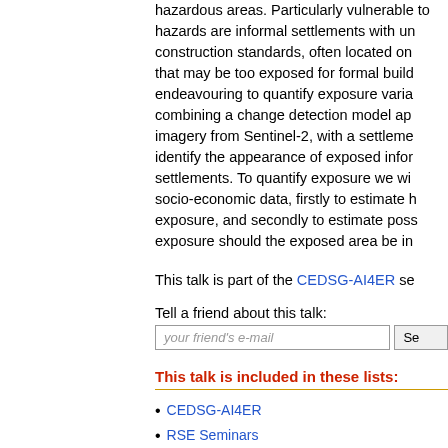hazardous areas. Particularly vulnerable to hazards are informal settlements with unregulated construction standards, often located on sites that may be too exposed for formal buildings. In endeavouring to quantify exposure variation, combining a change detection model applied to imagery from Sentinel-2, with a settlement model to identify the appearance of exposed informal settlements. To quantify exposure we will include socio-economic data, firstly to estimate human exposure, and secondly to estimate possible exposure should the exposed area be inhabited.
This talk is part of the CEDSG-AI4ER se...
Tell a friend about this talk:
This talk is included in these lists:
CEDSG-AI4ER
RSE Seminars
https://zoom.us/j/6708259482?pwd=Qk03U3hxZWNJZUZpT2pVZ...
ob366-ai4er